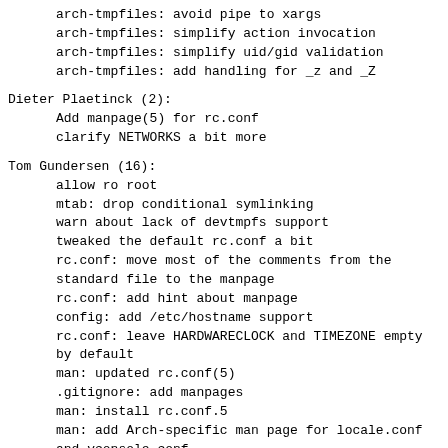arch-tmpfiles: avoid pipe to xargs
arch-tmpfiles: simplify action invocation
arch-tmpfiles: simplify uid/gid validation
arch-tmpfiles: add handling for _z and _Z
Dieter Plaetinck (2):
Add manpage(5) for rc.conf
clarify NETWORKS a bit more
Tom Gundersen (16):
allow ro root
mtab: drop conditional symlinking
warn about lack of devtmpfs support
tweaked the default rc.conf a bit
rc.conf: move most of the comments from the standard file to the manpage
rc.conf: add hint about manpage
config: add /etc/hostname support
rc.conf: leave HARDWARECLOCK and TIMEZONE empty by default
man: updated rc.conf(5)
.gitignore: add manpages
man: install rc.conf.5
man: add Arch-specific man page for locale.conf and vconsole.conf
man: add hostname(5)
man: minor fixes and typesetting
rc.conf: default DAEMON_LOCALE to 'yes'
man: minor fixups